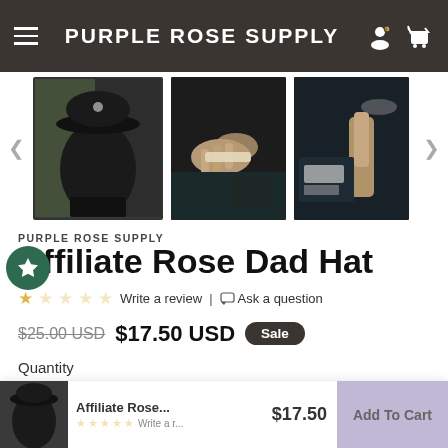PURPLE ROSE SUPPLY
[Figure (photo): Product image gallery showing three photos of the Affiliate Rose Dad Hat: a person wearing a black dad hat from behind, a person rolling a product, and a close-up of a logo on a dark shirt]
PURPLE ROSE SUPPLY
Affiliate Rose Dad Hat
☆ ☆ ☆ ☆ ☆ Write a review | Ask a question
$25.00 USD  $17.50 USD  Sale
Quantity
[Figure (screenshot): Sticky bottom bar showing product thumbnail, name 'Affiliate Rose...', star rating, price $17.50, and Add To Cart button]